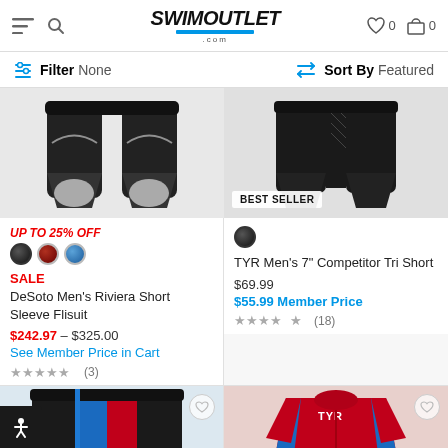SwimOutlet.com — Filter None | Sort By Featured
[Figure (screenshot): DeSoto Men's Riviera Short Sleeve Flisuit product image (black tri shorts)]
UP TO 25% OFF
SALE
DeSoto Men's Riviera Short Sleeve Flisuit
$242.97 – $325.00
See Member Price in Cart
(3)
[Figure (screenshot): TYR Men's 7" Competitor Tri Short product image with BEST SELLER badge]
TYR Men's 7" Competitor Tri Short
$69.99
$55.99 Member Price
(18)
[Figure (photo): Black and blue/red tri shorts product image]
[Figure (photo): TYR red/blue long sleeve top product image]